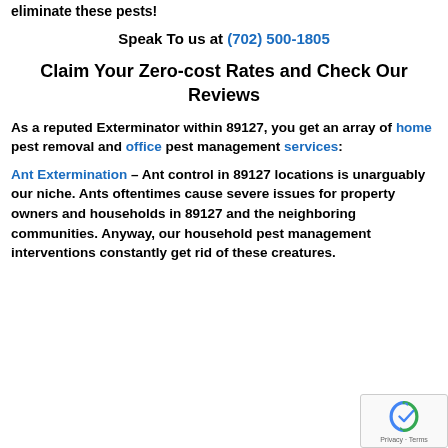eliminate these pests!
Speak To us at (702) 500-1805
Claim Your Zero-cost Rates and Check Our Reviews
As a reputed Exterminator within 89127, you get an array of home pest removal and office pest management services:
Ant Extermination – Ant control in 89127 locations is unarguably our niche. Ants oftentimes cause severe issues for property owners and households in 89127 and the neighboring communities. Anyway, our household pest management interventions constantly get rid of these creatures.